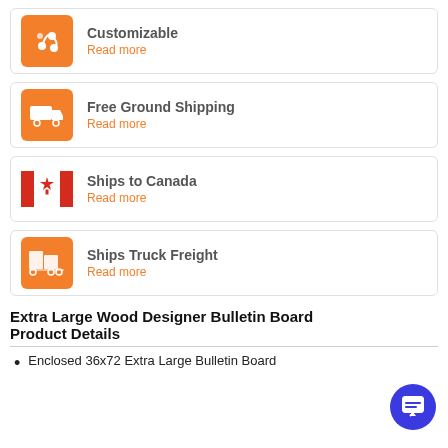Customizable
Read more
Free Ground Shipping
Read more
Ships to Canada
Read more
Ships Truck Freight
Read more
Extra Large Wood Designer Bulletin Board Product Details
Enclosed 36x72 Extra Large Bulletin Board